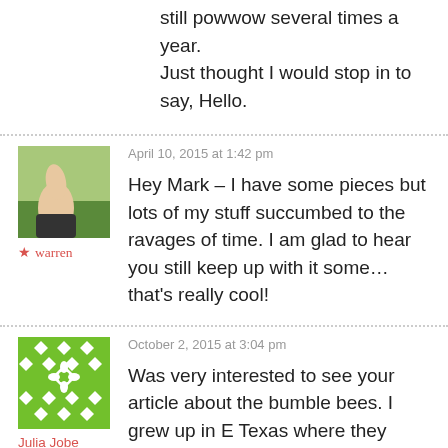still powwow several times a year. Just thought I would stop in to say, Hello.
[Figure (photo): Thumbs up photo of a person outdoors]
★ warren
April 10, 2015 at 1:42 pm
Hey Mark – I have some pieces but lots of my stuff succumbed to the ravages of time. I am glad to hear you still keep up with it some… that's really cool!
[Figure (illustration): Green geometric pattern avatar for Julia Jobe]
Julia Jobe
October 2, 2015 at 3:04 pm
Was very interested to see your article about the bumble bees. I grew up in E Texas where they were very common. My yard had a bordering hedge of Abelias and it stayed